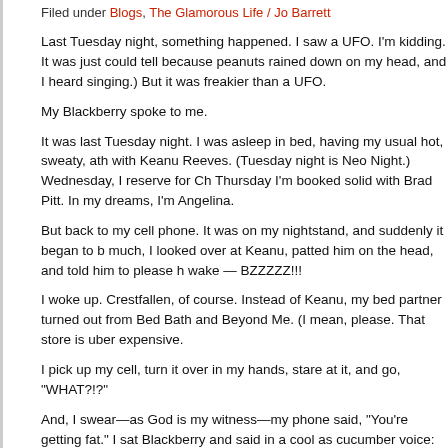Filed under Blogs, The Glamorous Life / Jo Barrett
Last Tuesday night, something happened. I saw a UFO. I'm kidding. It was just could tell because peanuts rained down on my head, and I heard singing.) But it was freakier than a UFO.
My Blackberry spoke to me.
It was last Tuesday night. I was asleep in bed, having my usual hot, sweaty, ath with Keanu Reeves. (Tuesday night is Neo Night.) Wednesday, I reserve for Ch Thursday I'm booked solid with Brad Pitt. In my dreams, I'm Angelina.
But back to my cell phone. It was on my nightstand, and suddenly it began to b much, I looked over at Keanu, patted him on the head, and told him to please h wake — BZZZZZ!!!
I woke up. Crestfallen, of course. Instead of Keanu, my bed partner turned out from Bed Bath and Beyond Me. (I mean, please. That store is uber expensive.
I pick up my cell, turn it over in my hands, stare at it, and go, "WHAT?!?"
And, I swear—as God is my witness—my phone said, "You're getting fat." I sat Blackberry and said in a cool as cucumber voice: "I'm not fat. This is water wei
At this point, my phone flashed a photo of me. "Check out your stomach," it sai say it, but my phone was right. I felt angry. Confused. A train wreck on two fat f